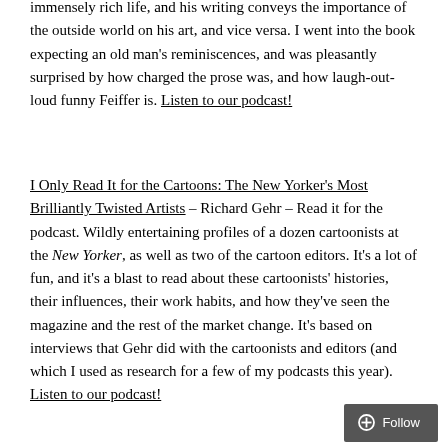immensely rich life, and his writing conveys the importance of the outside world on his art, and vice versa. I went into the book expecting an old man's reminiscences, and was pleasantly surprised by how charged the prose was, and how laugh-out-loud funny Feiffer is. Listen to our podcast!
I Only Read It for the Cartoons: The New Yorker's Most Brilliantly Twisted Artists – Richard Gehr – Read it for the podcast. Wildly entertaining profiles of a dozen cartoonists at the New Yorker, as well as two of the cartoon editors. It's a lot of fun, and it's a blast to read about these cartoonists' histories, their influences, their work habits, and how they've seen the magazine and the rest of the market change. It's based on interviews that Gehr did with the cartoonists and editors (and which I used as research for a few of my podcasts this year). Listen to our podcast!